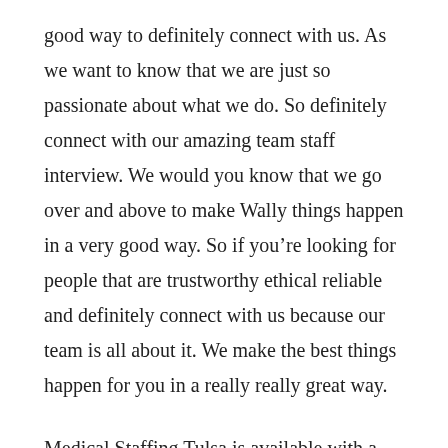good way to definitely connect with us. As we want to know that we are just so passionate about what we do. So definitely connect with our amazing team staff interview. We would you know that we go over and above to make Wally things happen in a very good way. So if you’re looking for people that are trustworthy ethical reliable and definitely connect with us because our team is all about it. We make the best things happen for you in a really really great way.
Medical Staffing Tulsa is available with a team of people that really just want to help you get ahead. If you’re looking for people that really do want to help...